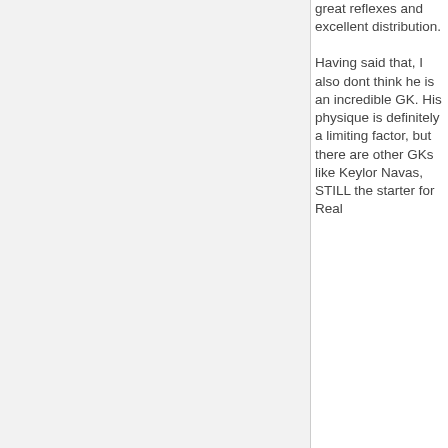great reflexes and excellent distribution. Having said that, I also dont think he is an incredible GK. His physique is definitely a limiting factor, but there are other GKs like Keylor Navas, STILL the starter for Real